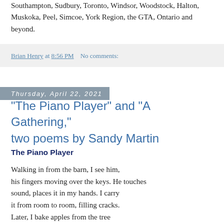Southampton, Sudbury, Toronto, Windsor, Woodstock, Halton, Muskoka, Peel, Simcoe, York Region, the GTA, Ontario and beyond.
Brian Henry at 8:56 PM   No comments:
Thursday, April 22, 2021
"The Piano Player" and "A Gathering," two poems by Sandy Martin
The Piano Player
Walking in from the barn, I see him,
his fingers moving over the keys. He touches
sound, places it in my hands. I carry
it from room to room, filling cracks.
Later, I bake apples from the tree
he overpruned last year. They are large
and sweet. He goes outside